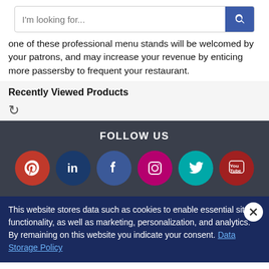[Figure (screenshot): Search bar with placeholder text 'I'm looking for...' and a blue search button with magnifying glass icon]
one of these professional menu stands will be welcomed by your patrons, and may increase your revenue by enticing more passersby to frequent your restaurant.
Recently Viewed Products
[Figure (other): Refresh/loading icon indicating recently viewed products loading]
[Figure (infographic): FOLLOW US section with social media icons: Pinterest, LinkedIn, Facebook, Instagram, Twitter, YouTube]
This website stores data such as cookies to enable essential site functionality, as well as marketing, personalization, and analytics. By remaining on this website you indicate your consent. Data Storage Policy